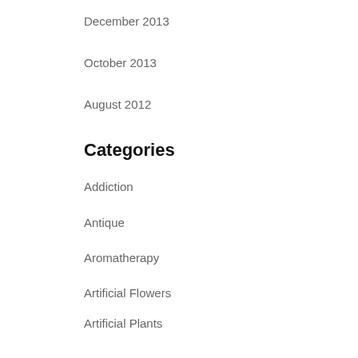December 2013
October 2013
August 2012
Categories
Addiction
Antique
Aromatherapy
Artificial Flowers
Artificial Plants
Asbestos
Asbestos Disposal